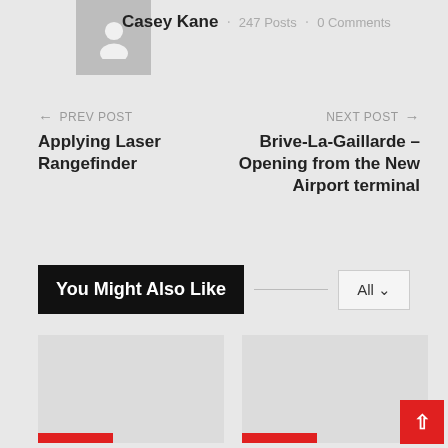[Figure (illustration): Gray placeholder avatar icon showing a person silhouette]
Casey Kane · 247 Posts · 0 Comments
← PREV POST
Applying Laser Rangefinder
NEXT POST →
Brive-La-Gaillarde – Opening from the New Airport terminal
You Might Also Like
All ∨
[Figure (illustration): Gray placeholder card image left]
[Figure (illustration): Gray placeholder card image right]